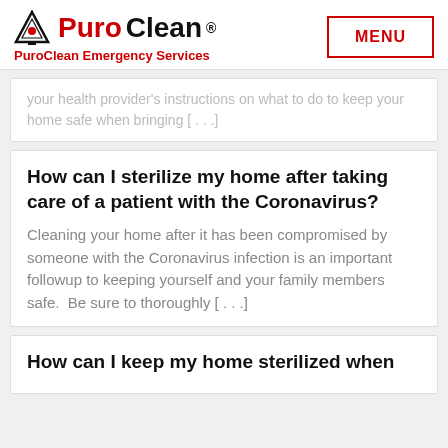PuroClean — PuroClean Emergency Services | MENU
your health provider's instructions on what to do to keep your home safe when bringing [...]
How can I sterilize my home after taking care of a patient with the Coronavirus?
Cleaning your home after it has been compromised by someone with the Coronavirus infection is an important followup to keeping yourself and your family members safe.  Be sure to thoroughly [...]
How can I keep my home sterilized when